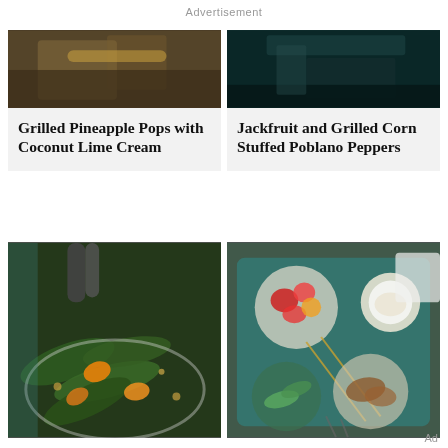Advertisement
[Figure (photo): Food photo top-left: dark wooden surface with items, partially cropped (grilled pineapple pops context)]
Grilled Pineapple Pops with Coconut Lime Cream
[Figure (photo): Food photo top-right: dark teal/black background with knife, jackfruit corn stuffed poblano peppers context]
Jackfruit and Grilled Corn Stuffed Poblano Peppers
[Figure (photo): Food photo bottom-left: grilled bok choy or romaine with orange segments and nuts on a plate, teal background]
[Figure (photo): Food photo bottom-right: colorful grilled vegetable bowls on teal wooden board with skewers, strawberries, dipping sauce]
Ad